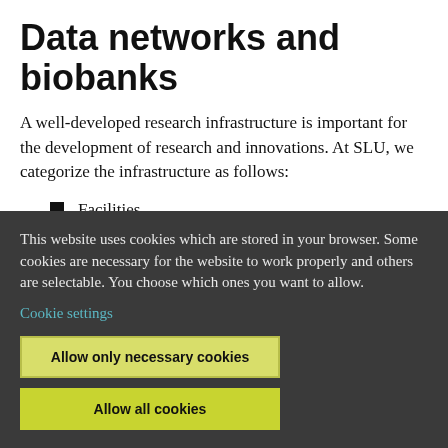Data networks and biobanks
A well-developed research infrastructure is important for the development of research and innovations. At SLU, we categorize the infrastructure as follows:
Facilities
Data networks and biobanks
Instruments
This website uses cookies which are stored in your browser. Some cookies are necessary for the website to work properly and others are selectable. You choose which ones you want to allow.
Cookie settings
Allow only necessary cookies
Allow all cookies